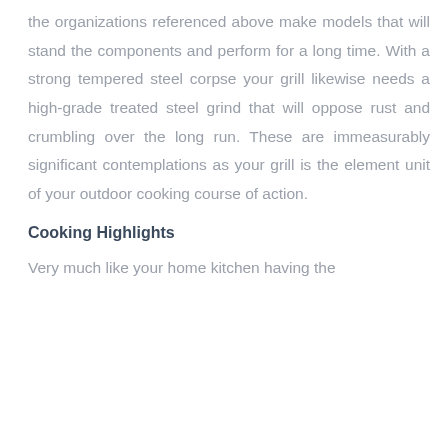the organizations referenced above make models that will stand the components and perform for a long time. With a strong tempered steel corpse your grill likewise needs a high-grade treated steel grind that will oppose rust and crumbling over the long run. These are immeasurably significant contemplations as your grill is the element unit of your outdoor cooking course of action.
Cooking Highlights
Very much like your home kitchen having the